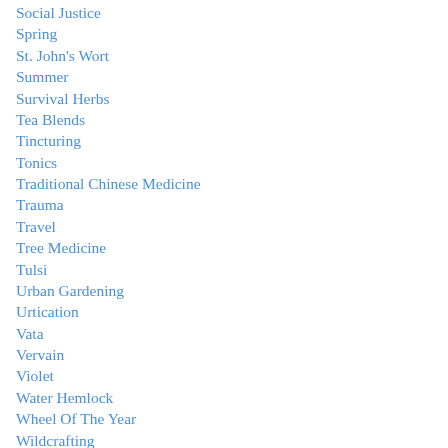Social Justice
Spring
St. John's Wort
Summer
Survival Herbs
Tea Blends
Tincturing
Tonics
Traditional Chinese Medicine
Trauma
Travel
Tree Medicine
Tulsi
Urban Gardening
Urtication
Vata
Vervain
Violet
Water Hemlock
Wheel Of The Year
Wildcrafting